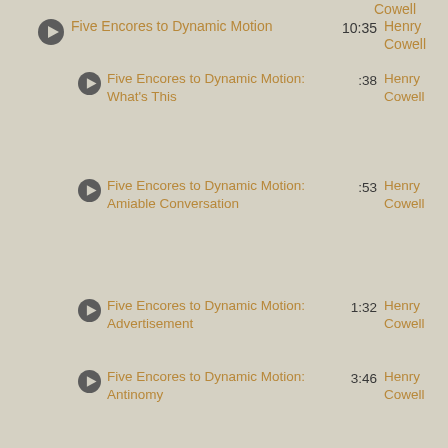Five Encores to Dynamic Motion | 10:35 | Henry Cowell
Five Encores to Dynamic Motion: What's This | :38 | Henry Cowell
Five Encores to Dynamic Motion: Amiable Conversation | :53 | Henry Cowell
Five Encores to Dynamic Motion: Advertisement | 1:32 | Henry Cowell
Five Encores to Dynamic Motion: Antinomy | 3:46 | Henry Cowell
Five Encores to Dynamic Motion: Time Table | 3:44 | Henry Cowell
Celestial Railroad | 7:25 | Charles Ives
May Rain | 2:41 | Lou Harrison
Saraband | 4:44 | Lou Harrison